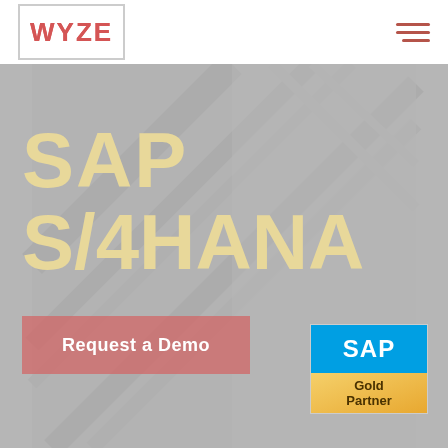WYZE logo and navigation menu
SAP S/4HANA
Request a Demo
[Figure (logo): SAP Gold Partner badge/logo]